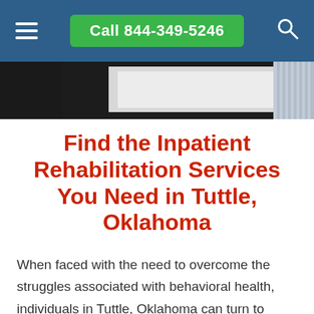Call 844-349-5246
[Figure (photo): Partial view of an indoor scene with dark and light areas, cropped at the top of the page]
Find the Inpatient Rehabilitation Services You Need in Tuttle, Oklahoma
When faced with the need to overcome the struggles associated with behavioral health, individuals in Tuttle, Oklahoma can turn to inpatient rehabilitation centers for the solution.